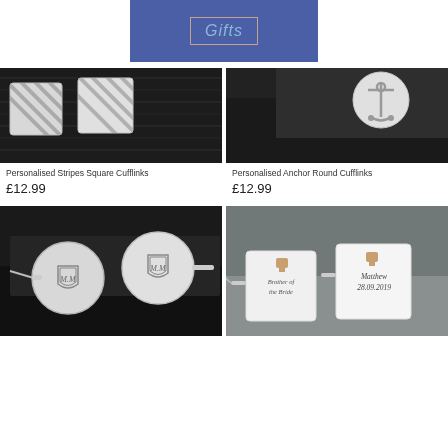[Figure (logo): Blue banner with 'Gifts' text in light blue italic, framed with a pink/rose rectangular border]
[Figure (photo): Close-up of personalised stripes square silver cufflinks on dark background]
Personalised Stripes Square Cufflinks
£12.99
[Figure (photo): Close-up of personalised anchor round silver cufflinks on dark background]
Personalised Anchor Round Cufflinks
£12.99
[Figure (photo): Round silver cufflinks engraved with shield and initials M.M on dark background]
[Figure (photo): Square silver cufflinks engraved with 'Brother of the Bride' and name Matthew 28.09.2019 on grey background]